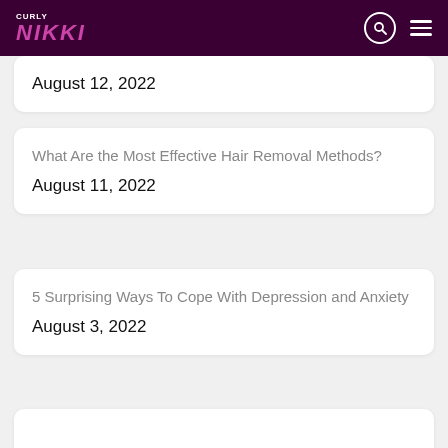CURLY NIKKI
August 12, 2022
What Are the Most Effective Hair Removal Methods?
August 11, 2022
5 Surprising Ways To Cope With Depression and Anxiety
August 3, 2022